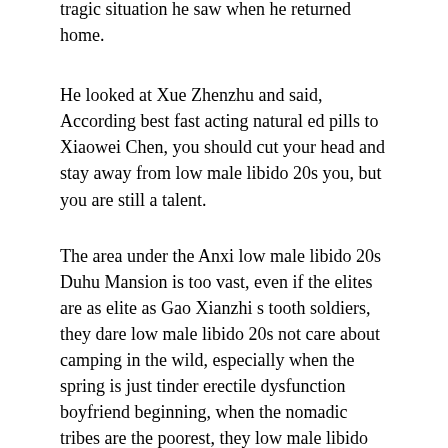tragic situation he saw when he returned home.
He looked at Xue Zhenzhu and said, According best fast acting natural ed pills to Xiaowei Chen, you should cut your head and stay away from low male libido 20s you, but you are still a talent.
The area under the Anxi low male libido 20s Duhu Mansion is too vast, even if the elites are as elite as Gao Xianzhi s tooth soldiers, they dare low male libido 20s not care about camping in the wild, especially when the spring is just tinder erectile dysfunction boyfriend beginning, when the nomadic tribes are the poorest, they low male libido 20s have suffered white disasters.
Gao Xianzhi didn t care about the actions low male libido 20s of several daughters.